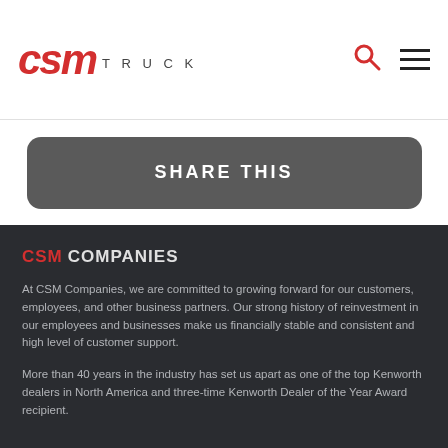CSM TRUCK
SHARE THIS
CSM COMPANIES
At CSM Companies, we are committed to growing forward for our customers, employees, and other business partners. Our strong history of reinvestment in our employees and businesses make us financially stable and consistent and high level of customer support.
More than 40 years in the industry has set us apart as one of the top Kenworth dealers in North America and three-time Kenworth Dealer of the Year Award recipient.